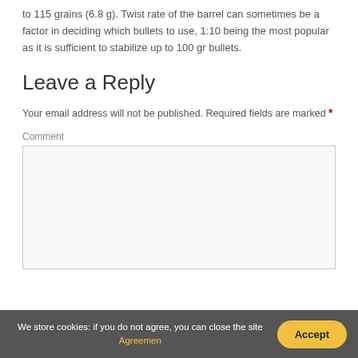to 115 grains (6.8 g). Twist rate of the barrel can sometimes be a factor in deciding which bullets to use, 1:10 being the most popular as it is sufficient to stabilize up to 100 gr bullets.
Leave a Reply
Your email address will not be published. Required fields are marked *
Comment
[Figure (other): Empty comment text area input box with light gray background and border]
We store cookies: if you do not agree, you can close the site Agreemen  Accept